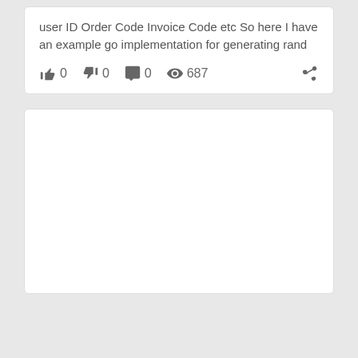user ID Order Code Invoice Code etc So here I have an example go implementation for generating rand
0  0  0  687
[Figure (other): Empty white card/panel below the action bar]